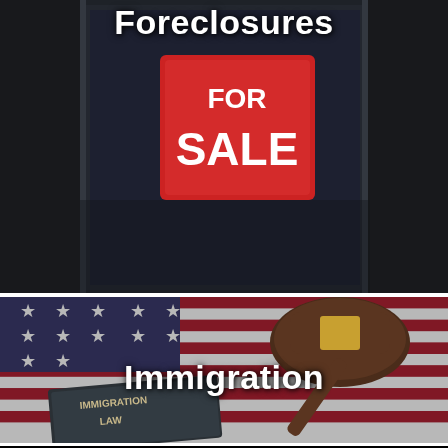[Figure (photo): Photo of a building with a FOR SALE sign in the window, dark storefront background]
Foreclosures
[Figure (photo): Photo of an American flag with a judge's gavel and a book titled IMMIGRATION LAW]
Immigration
[Figure (photo): Partial photo at the bottom, blurred background with books or documents]